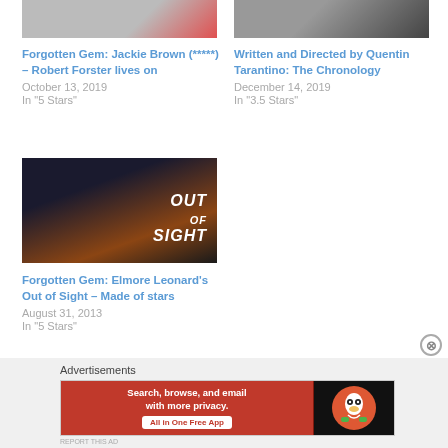[Figure (photo): Partial photo of two people, top left thumbnail]
Forgotten Gem: Jackie Brown (*****) – Robert Forster lives on
October 13, 2019
In "5 Stars"
[Figure (photo): Partial photo of a person in dark clothing, top right thumbnail]
Written and Directed by Quentin Tarantino: The Chronology
December 14, 2019
In "3.5 Stars"
[Figure (photo): Movie poster for Out of Sight showing two people and the Out of Sight title logo]
Forgotten Gem: Elmore Leonard's Out of Sight – Made of stars
August 31, 2013
In "5 Stars"
Advertisements
[Figure (screenshot): DuckDuckGo advertisement banner: Search, browse, and email with more privacy. All in One Free App. DuckDuckGo logo on the right.]